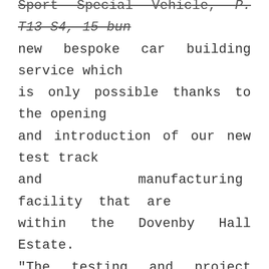new bespoke car building service which is only possible thanks to the opening and introduction of our new test track and manufacturing facility that are within the Dovenby Hall Estate. "The testing and project design for the Panda by M-Sport was completed entirely in house using the M-Sport Evaluation Centre, which we are abbreviating to 'MS-EC'. This entire project has opened our eyes to a new level to which we are now capable of delivering. The vision is now to show the rest of the world what M-Sport is capable of thanks to the amazing resources we have right on our